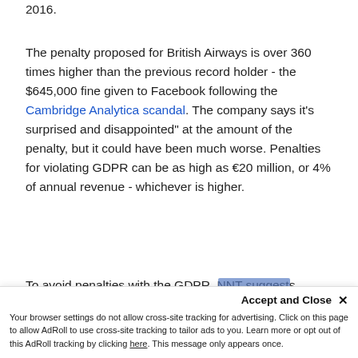2016.
The penalty proposed for British Airways is over 360 times higher than the previous record holder - the $645,000 fine given to Facebook following the Cambridge Analytica scandal. The company says it's surprised and disappointed" at the amount of the penalty, but it could have been much worse. Penalties for violating GDPR can be as high as €20 million, or 4% of annual revenue - whichever is higher.
To avoid penalties with the GDPR, NNT suggests regularly patching to minimize risk by...
Accept and Close ✕ Your browser settings do not allow cross-site tracking for advertising. Click on this page to allow AdRoll to use cross-site tracking to tailor ads to you. Learn more or opt out of this AdRoll tracking by clicking here. This message only appears once.